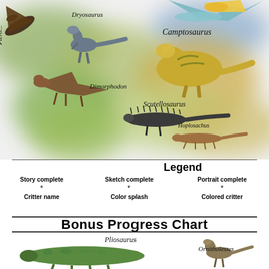[Figure (illustration): Illustrated dinosaur/prehistoric animal scene showing Pterodactyl (top left), Dryosaurus, Camptosaurus, Dimorphodon, Scutellosaurus, and Hoplitosaurus against watercolor green/teal/gold blobs. Each creature is hand-drawn style with its name in italic handwriting.]
Legend
| Story complete | Sketch complete | Portrait complete |
| --- | --- | --- |
| * | * | * |
| Critter name | Color splash | Colored critter |
Bonus Progress Chart
[Figure (illustration): Partial view of bottom illustration area showing Pliosaurus (left, green elongated creature) and Ornitholestes (right, small running dinosaur) with handwritten italic name labels.]